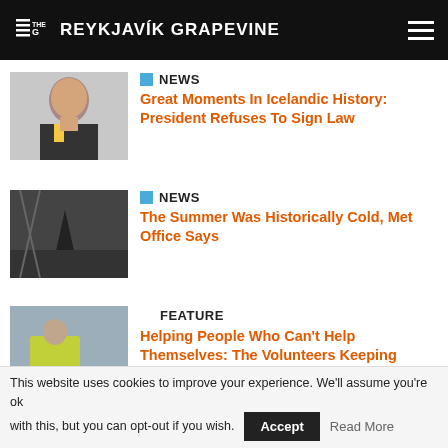THE REYKJAVÍK GRAPEVINE
NEWS
Great Moments In Icelandic History: President Refuses To Sign Law
NEWS
The Summer Was Historically Cold, Met Office Says
FEATURE
Helping People Who Can't Help Themselves: The Volunteers Keeping Iceland Safe
ARTICLES
This website uses cookies to improve your experience. We'll assume you're ok with this, but you can opt-out if you wish.